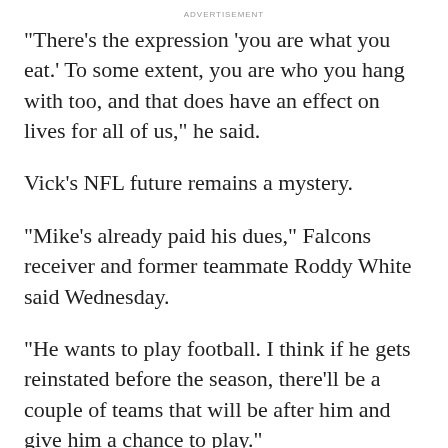ADVERTISEMENT
"There's the expression 'you are what you eat.' To some extent, you are who you hang with too, and that does have an effect on lives for all of us," he said.
Vick's NFL future remains a mystery.
"Mike's already paid his dues," Falcons receiver and former teammate Roddy White said Wednesday.
"He wants to play football. I think if he gets reinstated before the season, there'll be a couple of teams that will be after him and give him a chance to play."
People for the Ethical Treatment of Animals said Vick